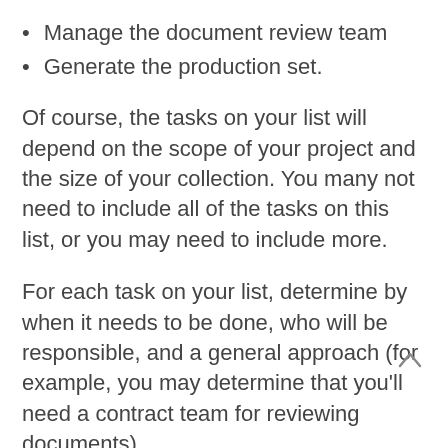Manage the document review team
Generate the production set.
Of course, the tasks on your list will depend on the scope of your project and the size of your collection. You many not need to include all of the tasks on this list, or you may need to include more.
For each task on your list, determine by when it needs to be done, who will be responsible, and a general approach (for example, you may determine that you'll need a contract team for reviewing documents).
There you go. You've got your big picture plan for